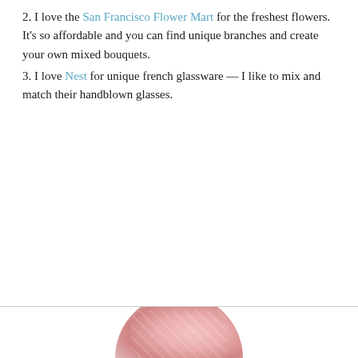2. I love the San Francisco Flower Mart for the freshest flowers. It's so affordable and you can find unique branches and create your own mixed bouquets.
3. I love Nest for unique french glassware — I like to mix and match their handblown glasses.
[Figure (photo): Partial circular/oval cropped photo at the bottom of the page showing colorful floral or decorative imagery in pink and red tones.]